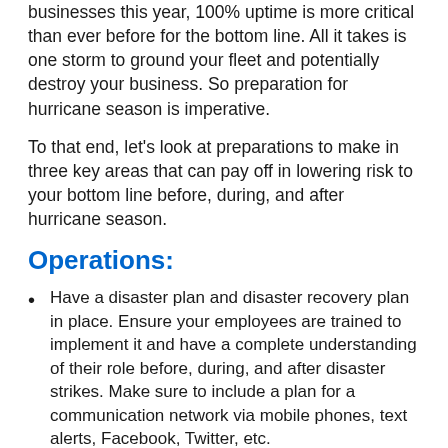businesses this year, 100% uptime is more critical than ever before for the bottom line. All it takes is one storm to ground your fleet and potentially destroy your business. So preparation for hurricane season is imperative.
To that end, let's look at preparations to make in three key areas that can pay off in lowering risk to your bottom line before, during, and after hurricane season.
Operations:
Have a disaster plan and disaster recovery plan in place. Ensure your employees are trained to implement it and have a complete understanding of their role before, during, and after disaster strikes. Make sure to include a plan for a communication network via mobile phones, text alerts, Facebook, Twitter, etc.
Ensure your team is trained on basic first-aid and CPR.